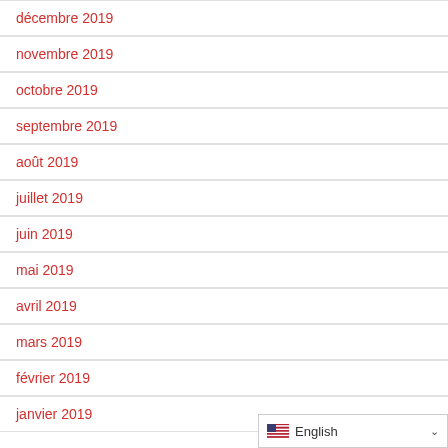décembre 2019
novembre 2019
octobre 2019
septembre 2019
août 2019
juillet 2019
juin 2019
mai 2019
avril 2019
mars 2019
février 2019
janvier 2019
English